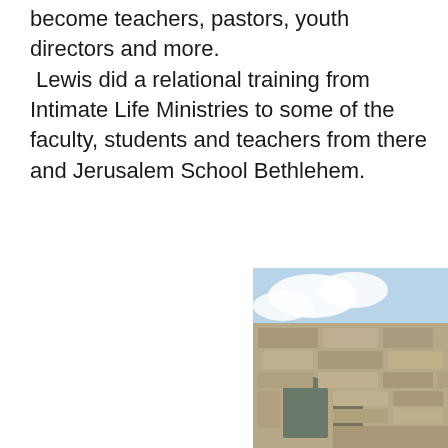become teachers, pastors, youth directors and more. Lewis did a relational training from Intimate Life Ministries to some of the faculty, students and teachers from there and Jerusalem School Bethlehem.
[Figure (photo): Photograph of ancient stone building ruins with arched windows against a partly cloudy sky, appearing to be in the Middle East (Bethlehem area).]